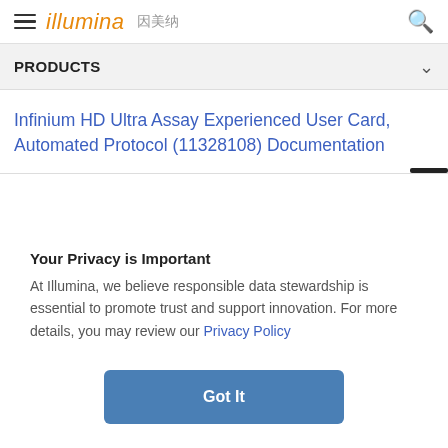≡ illumina 因美纳 🔍
PRODUCTS
Infinium HD Ultra Assay Experienced User Card, Automated Protocol (11328108) Documentation
Your Privacy is Important
At Illumina, we believe responsible data stewardship is essential to promote trust and support innovation. For more details, you may review our Privacy Policy
Got It